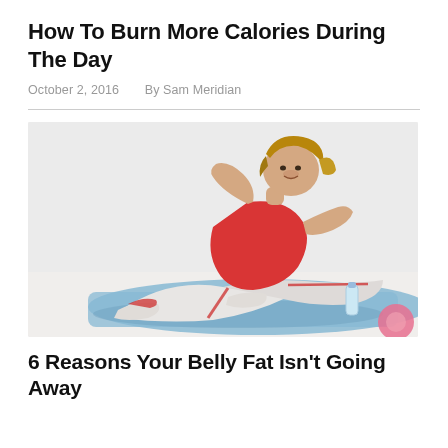How To Burn More Calories During The Day
October 2, 2016    By Sam Meridian
[Figure (photo): A woman in a red tank top and white track pants doing sit-ups on a blue yoga mat, smiling at the camera. A water bottle and exercise equipment are visible beside her.]
6 Reasons Your Belly Fat Isn’t Going Away